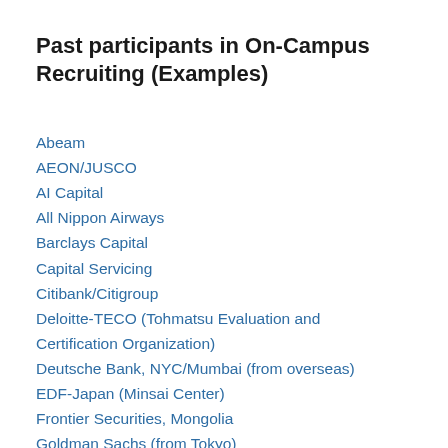Past participants in On-Campus Recruiting (Examples)
Abeam
AEON/JUSCO
AI Capital
All Nippon Airways
Barclays Capital
Capital Servicing
Citibank/Citigroup
Deloitte-TECO (Tohmatsu Evaluation and Certification Organization)
Deutsche Bank, NYC/Mumbai (from overseas)
EDF-Japan (Minsai Center)
Frontier Securities, Mongolia
Goldman Sachs (from Tokyo)
Hitachi Chubu